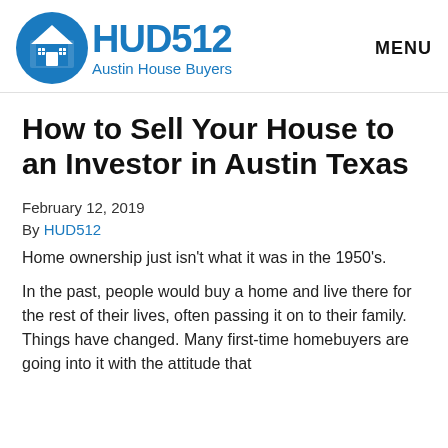HUD512 Austin House Buyers | MENU
How to Sell Your House to an Investor in Austin Texas
February 12, 2019
By HUD512
Home ownership just isn't what it was in the 1950's.
In the past, people would buy a home and live there for the rest of their lives, often passing it on to their family. Things have changed. Many first-time homebuyers are going into it with the attitude that